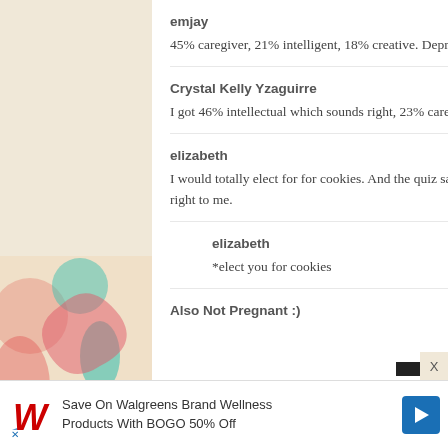emjay
45% caregiver, 21% intelligent, 18% creative. Depressing...
Crystal Kelly Yzaguirre
I got 46% intellectual which sounds right, 23% caregiver and 11% fashionista. I think they mixed those last two up.
elizabeth
I would totally elect for for cookies. And the quiz says I'm 49% Caregiver, 28% Intellectual, and 7% Spiritual, which sounds about right to me.
elizabeth
*elect you for cookies
Also Not Pregnant :)
Save On Walgreens Brand Wellness Products With BOGO 50% Off